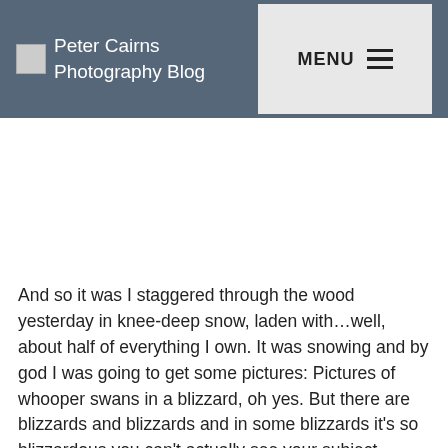Peter Cairns Photography Blog
[Figure (photo): Blank white image area below the navigation header]
And so it was I staggered through the wood yesterday in knee-deep snow, laden with…well, about half of everything I own. It was snowing and by god I was going to get some pictures: Pictures of whooper swans in a blizzard, oh yes. But there are blizzards and blizzards and in some blizzards it's so blizzardous you can't actually see your subject (which I always find helpful). Good conditions to set off in a floating